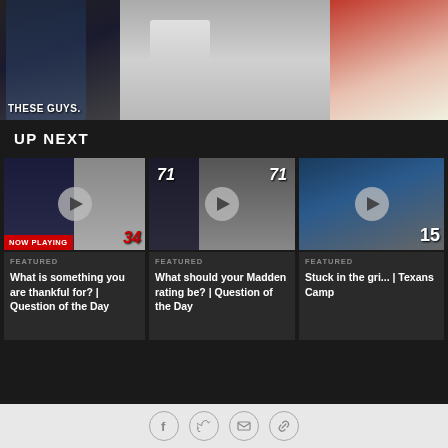[Figure (photo): Football players in white uniforms standing together, with text overlay 'THESE GUYS.' on the left side]
UP NEXT
[Figure (photo): Video thumbnail of football players, NOW PLAYING badge, number 34 visible]
FEATURED
What is something you are thankful for? | Question of the Day
[Figure (photo): Video thumbnail of football players with number 71 jerseys]
FEATURED
What should your Madden rating be? | Question of the Day
[Figure (photo): Video thumbnail of football player with number 15]
FEATURED
Stuck in the gri... | Texans Camp